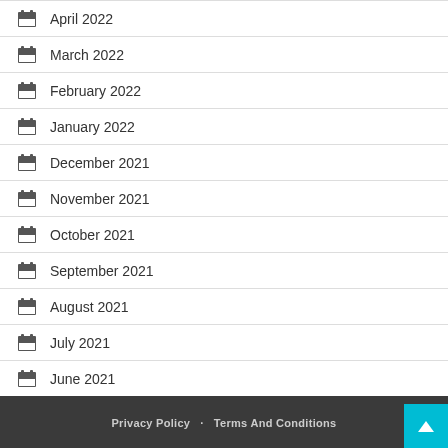April 2022
March 2022
February 2022
January 2022
December 2021
November 2021
October 2021
September 2021
August 2021
July 2021
June 2021
Privacy Policy   Terms And Conditions